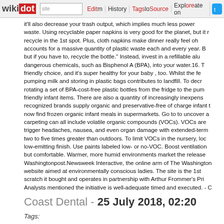wikidot | site | Edit | History | Tags | Source | Explore | Share on [Twitter]
it'll also decrease your trash output, which implies much less power waste. Using recyclable paper napkins is very good for the planet, but it r recycle in the 1st spot. Plus, cloth napkins make dinner really feel oh accounts for a massive quantity of plastic waste each and every year. B but if you have to, recycle the bottle." Instead, invest in a refillable alu dangerous chemicals, such as Bisphenol A (BPA), into your water.16. T friendly choice, and it's super healthy for your baby , too. Whilst the fe pumping milk and storing in plastic bags contributes to landfill. To decr rotating a set of BPA-cost-free plastic bottles from the fridge to the pum friendly infant items. There are also a quantity of increasingly inexpens recognized brands supply organic and preservative-free of charge infant t now find frozen organic infant meals in supermarkets. Go to to uncover a carpeting can all include volatile organic compounds (VOCs). VOCs are trigger headaches, nausea, and even organ damage with extended-term two to five times greater than outdoors. To limit VOCs in the nursery, loc low-emitting finish. Use paints labeled low- or no-VOC. Boost ventilation but comfortable. Warmer, more humid environments market the release Washingtonpost.Newsweek Interactive, the online arm of The Washington website aimed at environmentally conscious ladies. The site is the 1st scratch it bought and operates in partnership with Arthur Frommer's Pri Analysts mentioned the initiative is well-adequate timed and executed. - C
Coast Dental - 25 July 2018, 02:20
Tags:
Brush twice a day, paying unique interest to the tongue. Floss as soon a term repair. Track the foods you eat and the medicines you take. Chron more critical medical situation. A complete exam with your Park Dent